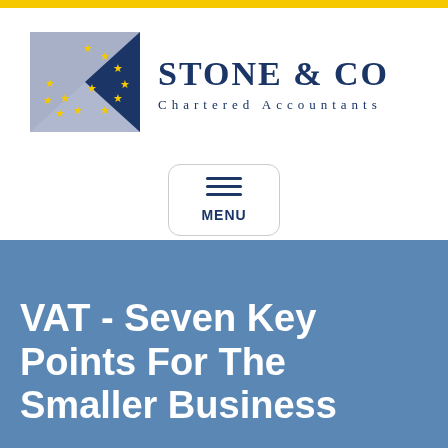[Figure (logo): Stone & Co Chartered Accountants logo — square with blue/grey diagonal and yellow EU-style stars, alongside company name and subtitle]
[Figure (other): Hamburger menu button with three horizontal lines and MENU label, rounded rectangle border]
VAT - Seven Key Points For The Smaller Business